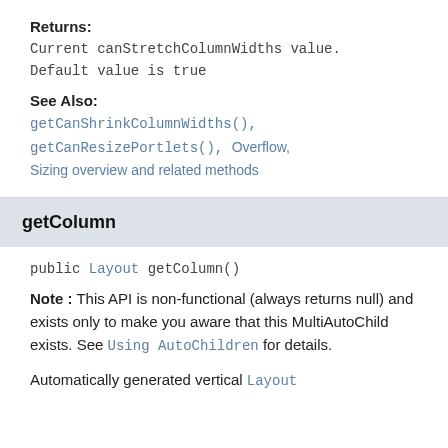Returns:
Current canStretchColumnWidths value. Default value is true
See Also:
getCanShrinkColumnWidths(), getCanResizePortlets(), Overflow, Sizing overview and related methods
getColumn
public Layout getColumn()
Note : This API is non-functional (always returns null) and exists only to make you aware that this MultiAutoChild exists. See Using AutoChildren for details.
Automatically generated vertical Layout